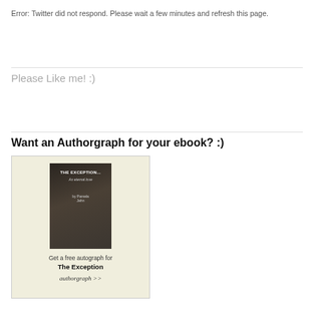Error: Twitter did not respond. Please wait a few minutes and refresh this page.
Please Like me! :)
Want an Authorgraph for your ebook? :)
[Figure (illustration): Authorgraph promotional banner showing a book cover for 'The Exception' with text 'Get a free autograph for The Exception authorgraph >>']